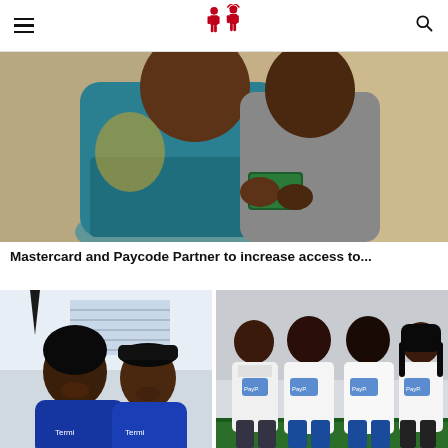Navigation header with hamburger menu, red logo icon, and search icon
[Figure (photo): Two people outdoors on sandy ground, one wearing a blue t-shirt, looking at a smartphone or card being held]
Mastercard and Paycode Partner to increase access to...
[Figure (photo): Two smiling women in blue Termii branded t-shirts posing together in an office setting]
[Figure (photo): Four people in white PayPlus branded t-shirts standing together, three men and one woman]